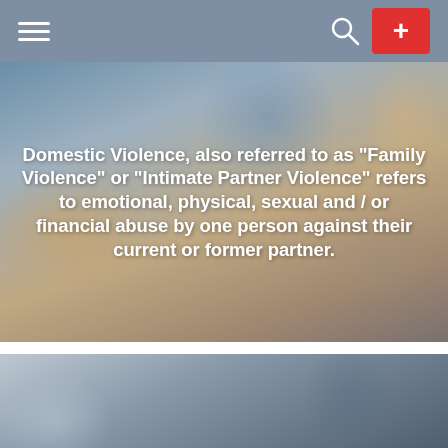Navigation bar with hamburger menu, search icon, and plus button
[Figure (photo): Blurred background photo of a person at a desk with a laptop and coffee mug. Overlaid with large bold white text defining domestic violence.]
Domestic Violence, also referred to as “Family Violence” or “Intimate Partner Violence” refers to emotional, physical, sexual and / or financial abuse by one person against their current or former partner.
[Figure (photo): Blurred background photo of a person in a dark jacket, partial view, in a consultation or meeting setting.]